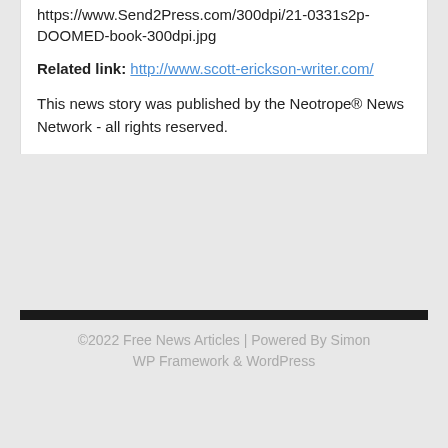https://www.Send2Press.com/300dpi/21-0331s2p-DOOMED-book-300dpi.jpg
Related link: http://www.scott-erickson-writer.com/
This news story was published by the Neotrope® News Network - all rights reserved.
©2022 Free News Articles | Powered By Simon WP Framework & WordPress